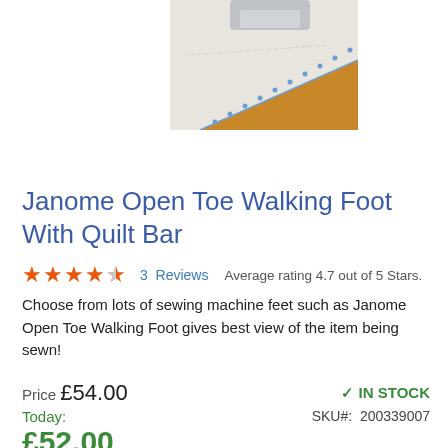[Figure (photo): Close-up photo of a sewing machine walking foot on fabric, showing white stitching on golden/mustard colored fabric with a metallic silver foot component visible.]
Janome Open Toe Walking Foot With Quilt Bar
★★★★★ (4.7/5 half star) 3 Reviews  Average rating 4.7 out of 5 Stars.
Choose from lots of sewing machine feet such as Janome Open Toe Walking Foot gives best view of the item being sewn!
Price £54.00  ✓ IN STOCK
Today:  SKU#:  200339007
£52.00